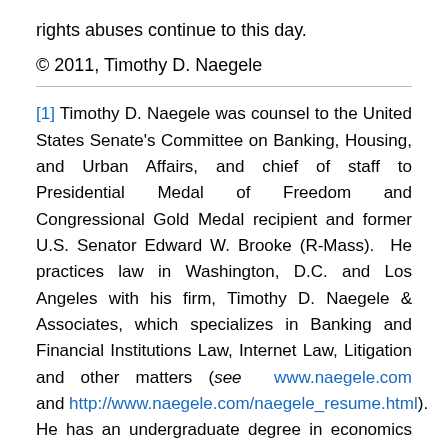rights abuses continue to this day.
© 2011, Timothy D. Naegele
[1] Timothy D. Naegele was counsel to the United States Senate's Committee on Banking, Housing, and Urban Affairs, and chief of staff to Presidential Medal of Freedom and Congressional Gold Medal recipient and former U.S. Senator Edward W. Brooke (R-Mass). He practices law in Washington, D.C. and Los Angeles with his firm, Timothy D. Naegele & Associates, which specializes in Banking and Financial Institutions Law, Internet Law, Litigation and other matters (see www.naegele.com and http://www.naegele.com/naegele_resume.html). He has an undergraduate degree in economics from UCLA, as well as two law degrees from the School of Law (Boalt